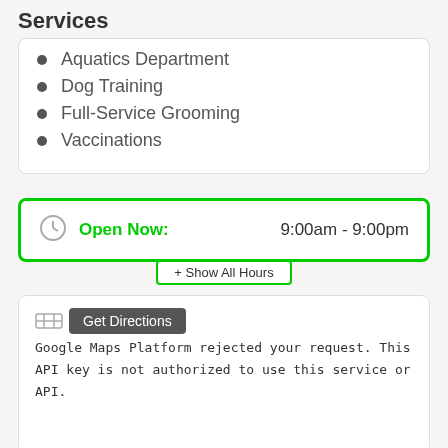Services
Aquatics Department
Dog Training
Full-Service Grooming
Vaccinations
Open Now: 9:00am - 9:00pm
+ Show All Hours
Get Directions
Google Maps Platform rejected your request. This API key is not authorized to use this service or API.